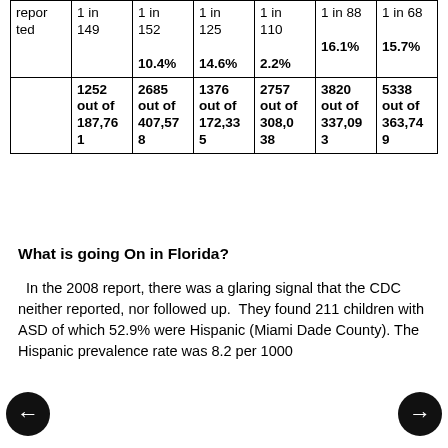| repor ted | 1 in 149 | 1 in 152 | 1 in 125 | 1 in 110 | 1 in 88 16.1% | 1 in 68 15.7% |
| --- | --- | --- | --- | --- | --- | --- |
|  |  | 10.4% | 14.6% | 2.2% |  |  |
|  | 1252 out of 187,761 | 2685 out of 407,578 | 1376 out of 172,335 | 2757 out of 308,038 | 3820 out of 337,093 | 5338 out of 363,749 |
What is going On in Florida?
In the 2008 report, there was a glaring signal that the CDC neither reported, nor followed up. They found 211 children with ASD of which 52.9% were Hispanic (Miami Dade County). The Hispanic prevalence rate was 8.2 per 1000